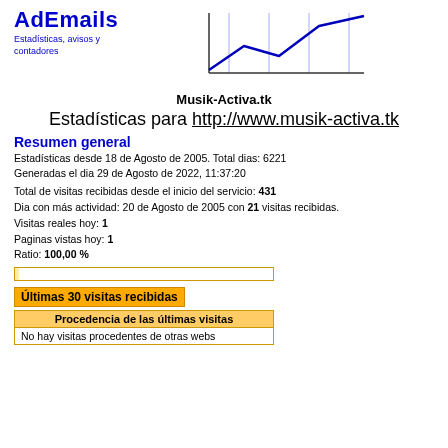[Figure (logo): AdEmails logo with blue bold text and subtitle 'Estadísticas, avisos y contadores', alongside a line chart graphic showing upward trend]
Musik-Activa.tk
Estadísticas para http://www.musik-activa.tk
Resumen general
Estadísticas desde 18 de Agosto de 2005. Total dias: 6221
Generadas el dia 29 de Agosto de 2022, 11:37:20
Total de visitas recibidas desde el inicio del servicio: 431
Dia con más actividad: 20 de Agosto de 2005 con 21 visitas recibidas.
Visitas reales hoy: 1
Paginas vistas hoy: 1
Ratio: 100,00 %
[Figure (infographic): Progress bar with orange/yellow border, mostly empty with small fill]
Últimas 30 visitas recibidas
| Procedencia de las últimas visitas |
| --- |
| No hay visitas procedentes de otras webs |